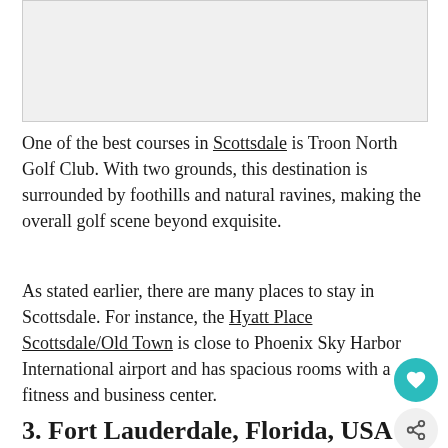[Figure (photo): Image placeholder/photo at top of page]
One of the best courses in Scottsdale is Troon North Golf Club. With two grounds, this destination is surrounded by foothills and natural ravines, making the overall golf scene beyond exquisite.
As stated earlier, there are many places to stay in Scottsdale. For instance, the Hyatt Place Scottsdale/Old Town is close to Phoenix Sky Harbor International airport and has spacious rooms with a fitness and business center.
3. Fort Lauderdale, Florida, USA